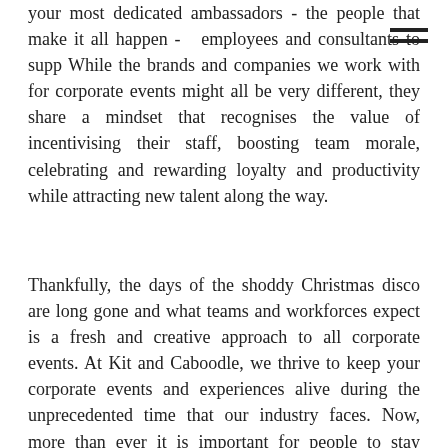your most dedicated ambassadors - the people that make it all happen - employees and consultants to supp While the brands and companies we work with for corporate events might all be very different, they share a mindset that recognises the value of incentivising their staff, boosting team morale, celebrating and rewarding loyalty and productivity while attracting new talent along the way.
Thankfully, the days of the shoddy Christmas disco are long gone and what teams and workforces expect is a fresh and creative approach to all corporate events. At Kit and Caboodle, we thrive to keep your corporate events and experiences alive during the unprecedented time that our industry faces. Now, more than ever it is important for people to stay connected - We have the expertise to deliver a fully